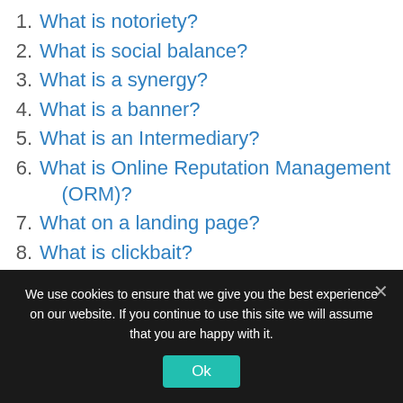1. What is notoriety?
2. What is social balance?
3. What is a synergy?
4. What is a banner?
5. What is an Intermediary?
6. What is Online Reputation Management (ORM)?
7. What on a landing page?
8. What is clickbait?
9. What is spam?
10. What is a banking pool?
We use cookies to ensure that we give you the best experience on our website. If you continue to use this site we will assume that you are happy with it.